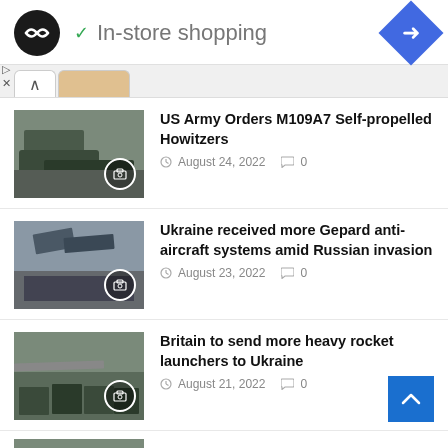[Figure (screenshot): Page header with logo, In-store shopping text with checkmark, and blue navigation diamond icon]
US Army Orders M109A7 Self-propelled Howitzers — August 24, 2022 — 0 comments
Ukraine received more Gepard anti-aircraft systems amid Russian invasion — August 23, 2022 — 0 comments
Britain to send more heavy rocket launchers to Ukraine — August 21, 2022 — 0 comments